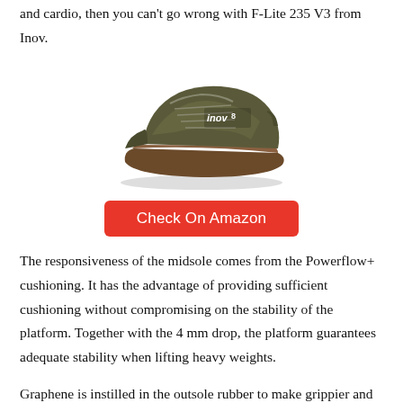and cardio, then you can't go wrong with F-Lite 235 V3 from Inov.
[Figure (photo): Olive/brown Inov-8 F-Lite 235 V3 cross-training shoe viewed from the side, showing the inov-8 brand logo on the side panel.]
Check On Amazon
The responsiveness of the midsole comes from the Powerflow+ cushioning. It has the advantage of providing sufficient cushioning without compromising on the stability of the platform. Together with the 4 mm drop, the platform guarantees adequate stability when lifting heavy weights.
Graphene is instilled in the outsole rubber to make grippier and increase its ability to withstand abrasion or tearing. The grooves on the outsole are designed to mimic the structure of your underfoot so that each segment can bend without restriction. The forefoot exhibits more enhanced flexibility because of the incorporation of a